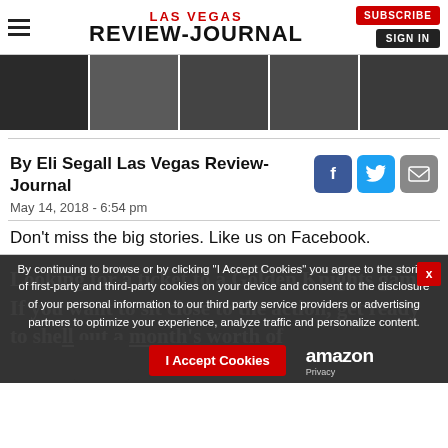LAS VEGAS REVIEW-JOURNAL | SUBSCRIBE | SIGN IN
[Figure (photo): Strip of five sports/crowd photos showing Golden Knights fans and hockey game scenes]
By Eli Segall Las Vegas Review-Journal
May 14, 2018 - 6:54 pm
Don't miss the big stories. Like us on Facebook.
Looking for a ticket to a Golden Knights game? If you want to sit close to the action, get ready to shell out a month's worth of
By continuing to browse or by clicking “I Accept Cookies” you agree to the storing of first-party and third-party cookies on your device and consent to the disclosure of your personal information to our third party service providers or advertising partners to optimize your experience, analyze traffic and personalize content.
I Accept Cookies
amazon Privacy